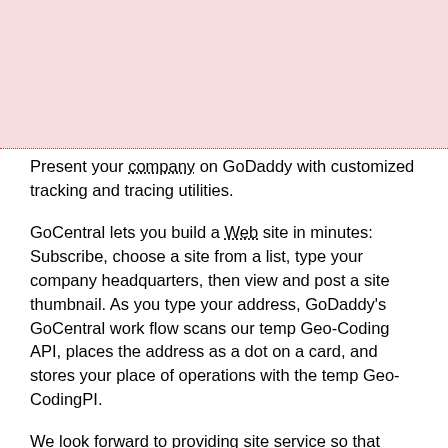[Figure (other): Pink/light rose colored rectangular background block at the top of the page, separated from the text below by a dotted red/dark-pink horizontal border line.]
Present your company on GoDaddy with customized tracking and tracing utilities.
GoCentral lets you build a Web site in minutes: Subscribe, choose a site from a list, type your company headquarters, then view and post a site thumbnail. As you type your address, GoDaddy's GoCentral work flow scans our temp Geo-Coding API, places the address as a dot on a card, and stores your place of operations with the temp Geo-CodingPI.
We look forward to providing site service so that GoDaddy can help its clients be 100% genuine. For more information on the storage of site information, please feel free to ask our staff and we will be pleased to talk to you.